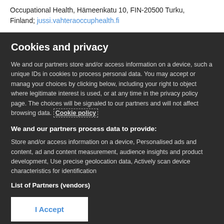Occupational Health, Hämeenkatu 10, FIN-20500 Turku, Finland; jussi.vahteraoccuphealth.fi
Cookies and privacy
We and our partners store and/or access information on a device, such a unique IDs in cookies to process personal data. You may accept or manag your choices by clicking below, including your right to object where legitimate interest is used, or at any time in the privacy policy page. The choices will be signaled to our partners and will not affect browsing data. Cookie policy
We and our partners process data to provide:
Store and/or access information on a device, Personalised ads and content, ad and content measurement, audience insights and product development, Use precise geolocation data, Actively scan device characteristics for identification
List of Partners (vendors)
I Accept